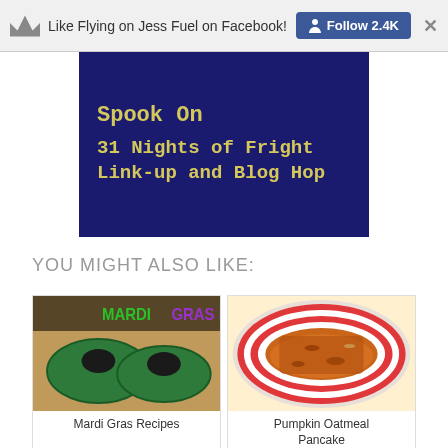Like Flying on Jess Fuel on Facebook! Follow 2.4K ×
[Figure (photo): Dark blue background image with yellow text reading 'Spook On' at top, '31 Nights of Fright Link-up and Blog Hop' below]
YOU MIGHT ALSO LIKE:
[Figure (photo): Mardi Gras mask with colorful feathers, text overlay 'MARDI GRAS RI']
Mardi Gras Recipes
[Figure (photo): Pumpkin oatmeal pancake on a colorful striped plate]
Pumpkin Oatmeal Pancake
[Figure (photo): Bottom left thumbnail, partially visible]
[Figure (photo): Bottom right thumbnail, partially visible]